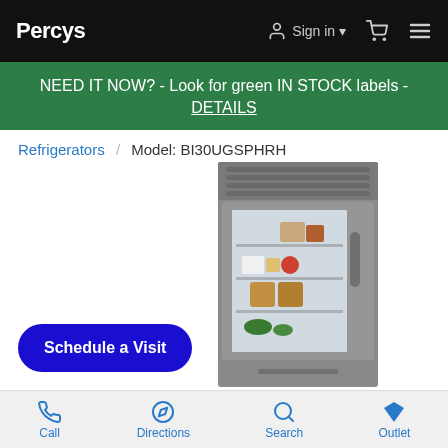PERCYS   Sign in   [cart]   [menu]
NEED IT NOW? - Look for green IN STOCK labels - DETAILS
Refrigerators / Model: BI30UGSPHRH
[Figure (photo): Stainless steel built-in refrigerator with glass door showing food items on shelves]
Schedule a Visit
Call   Directions   Search   Outlet